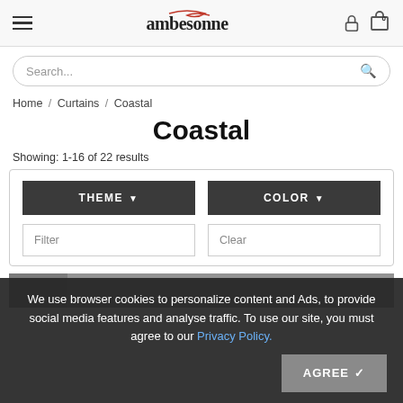ambesonne — navigation header with hamburger menu, logo, lock icon, and cart (0)
Search...
Home / Curtains / Coastal
Coastal
Showing: 1-16 of 22 results
THEME ▼
COLOR ▼
Filter
Clear
We use browser cookies to personalize content and Ads, to provide social media features and analyse traffic. To use our site, you must agree to our Privacy Policy.
AGREE ✓